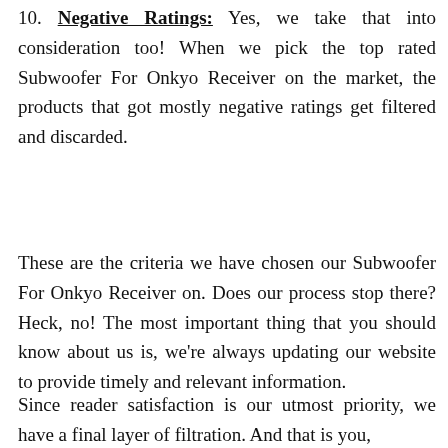10. Negative Ratings: Yes, we take that into consideration too! When we pick the top rated Subwoofer For Onkyo Receiver on the market, the products that got mostly negative ratings get filtered and discarded.
These are the criteria we have chosen our Subwoofer For Onkyo Receiver on. Does our process stop there? Heck, no! The most important thing that you should know about us is, we're always updating our website to provide timely and relevant information.
Since reader satisfaction is our utmost priority, we have a final layer of filtration. And that is you,